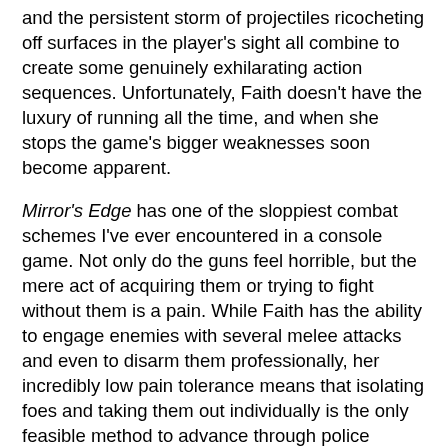and the persistent storm of projectiles ricocheting off surfaces in the player's sight all combine to create some genuinely exhilarating action sequences.  Unfortunately, Faith doesn't have the luxury of running all the time, and when she stops the game's bigger weaknesses soon become apparent.
Mirror's Edge has one of the sloppiest combat schemes I've ever encountered in a console game.  Not only do the guns feel horrible, but the mere act of acquiring them or trying to fight without them is a pain.  While Faith has the ability to engage enemies with several melee attacks and even to disarm them professionally, her incredibly low pain tolerance means that isolating foes and taking them out individually is the only feasible method to advance through police blockades.  This isn't always practical, especially on higher difficulty levels, where repeated attempts on the same section are customary.  The same complaint applies to the rest of the game, which so often feels like a punishing system of trial and error, whereby even the slightest delay in hitting a certain button or the most minute error in the player's aim sends him tumbling 10 stories to meet Wile E. Coyote at the city floor.  The save system does ease the i